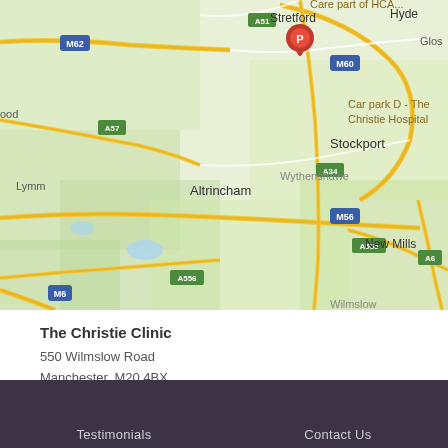[Figure (map): Google Maps screenshot showing Manchester area with The Christie Hospital marked with a red pin. Shows roads including M62, M60, M56, M6, A57, A556, A555, A6, A34. Areas visible include Stretford, Hyde, Altrincham, Lymm, Wythenshawe, Stockport, New Mills, Wilmslow. Car park D - The Christie Hospital label visible.]
The Christie Clinic
550 Wilmslow Road
Manchester, M20 4BX
Phone: 0161 401 4037
Testimonials    Contact Us